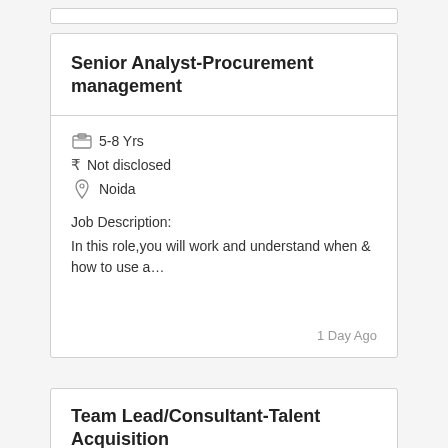Senior Analyst-Procurement management
5-8 Yrs
Not disclosed
Noida
Job Description:
In this role,you will work and understand when & how to use a…
1 Day Ago
Team Lead/Consultant-Talent Acquisition